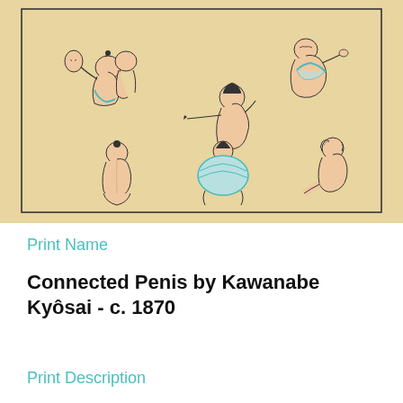[Figure (illustration): A Japanese woodblock print showing six figures in various poses on a tan/beige background, enclosed in a rectangular border. The figures are drawn in a classical Japanese style with minimal color (black ink outlines with teal/blue accents).]
Print Name
Connected Penis by Kawanabe Kyôsai - c. 1870
Print Description